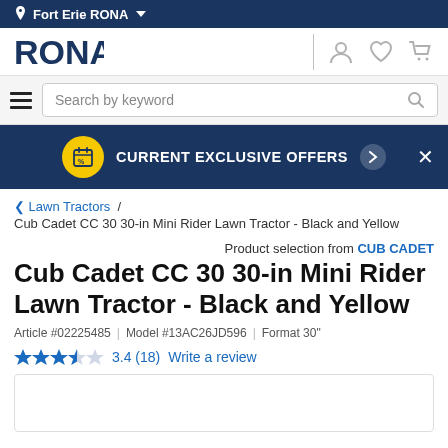Fort Erie RONA
[Figure (logo): RONA logo with user, wishlist, and cart icons]
[Figure (screenshot): Search bar with hamburger menu and search by keyword input]
CURRENT EXCLUSIVE OFFERS
< Lawn Tractors / Cub Cadet CC 30 30-in Mini Rider Lawn Tractor - Black and Yellow
Product selection from CUB CADET
Cub Cadet CC 30 30-in Mini Rider Lawn Tractor - Black and Yellow
Article #02225485 | Model #13AC26JD596 | Format 30"
3.4 (18) Write a review